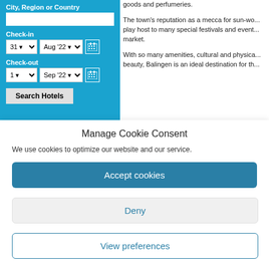[Figure (screenshot): Hotel booking widget on blue background with City/Region/Country input, Check-in date (31 Aug '22), Check-out date (1 Sep '22), and Search Hotels button]
goods and perfumeries.

The town's reputation as a mecca for sun-wo... play host to many special festivals and event... market.

With so many amenities, cultural and physica... beauty, Balingen is an ideal destination for th...
Manage Cookie Consent
We use cookies to optimize our website and our service.
Accept cookies
Deny
View preferences